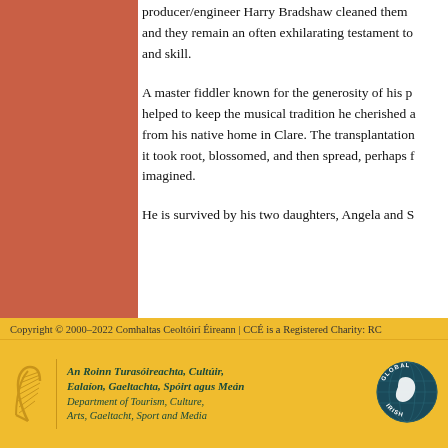producer/engineer Harry Bradshaw cleaned them and they remain an often exhilarating testament to and skill.
A master fiddler known for the generosity of his p helped to keep the musical tradition he cherished a from his native home in Clare. The transplantation it took root, blossomed, and then spread, perhaps f imagined.
He is survived by his two daughters, Angela and S
Copyright © 2000–2022 Comhaltas Ceoltóirí Éireann | CCÉ is a Registered Charity: RC
[Figure (logo): Irish government harp logo and Department of Tourism, Culture, Arts, Gaeltacht, Sport and Media text, alongside Global Irish circular badge]